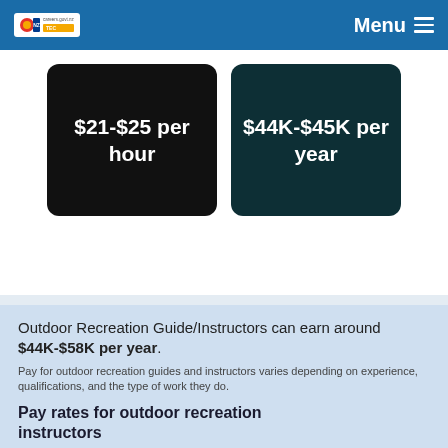Menu
[Figure (infographic): Two dark cards showing salary ranges: '$21-$25 per hour' on black background and '$44K-$45K per year' on dark teal background]
Outdoor Recreation Guide/Instructors can earn around $44K-$58K per year. Pay for outdoor recreation guides and instructors varies depending on experience, qualifications, and the type of work they do.
Pay rates for outdoor recreation instructors
New outdoor recreation instructors with entry-level qualifications usually earn minimum wage.